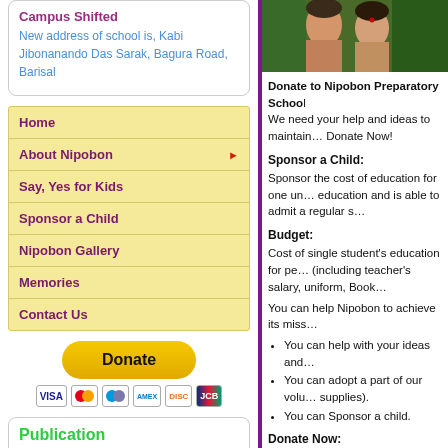Campus Shifted
New address of school is, Kabi Jibonanando Das Sarak, Bagura Road, Barisal
Home
About Nipobon
Say, Yes for Kids
Sponsor a Child
Nipobon Gallery
Memories
Contact Us
[Figure (other): Donate button with payment icons (Visa, Mastercard, Maestro, Amex, Discover, JCB)]
Publication
[Figure (other): Publication image with play button on dark green background]
[Figure (photo): Photo of two children with green background]
Donate to Nipobon Preparatory School
We need your help and ideas to maintain... Donate Now!
Sponsor a Child:
Sponsor the cost of education for one un... education and is able to admit a regular s...
Budget:
Cost of single student's education for per... (including teacher's salary, uniform, Book...
You can help Nipobon to achieve its miss...
You can help with your ideas and...
You can adopt a part of our volun... supplies).
You can Sponsor a child.
Donate Now:
We seek your generous contributions for... own expenses so 100% of your contribut... of a cheque or demand draft drawn in fav...
Nipobon Preparatory School